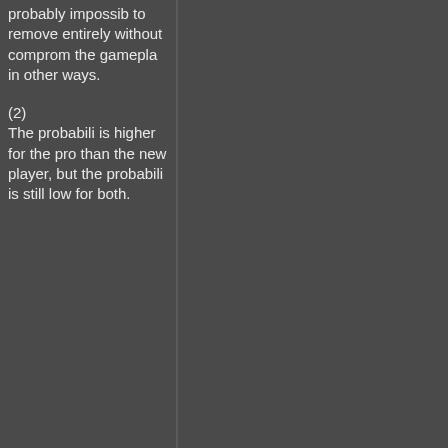probably impossible to remove entirely without compromising the gameplay in other ways.
(2) The probability is higher for the pro than the new player, but the probability is still low for both.